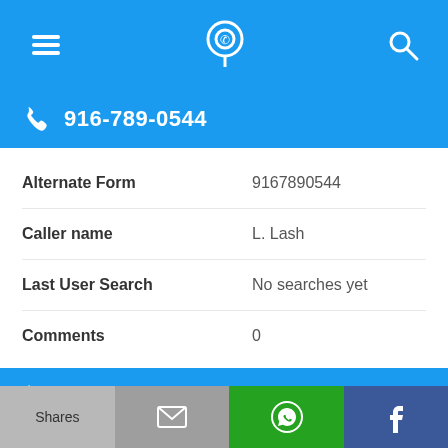[Figure (screenshot): Top navigation bar with hamburger menu icon, phone location pin icon, and search icon on blue background]
916-789-0544
| Field | Value |
| --- | --- |
| Alternate Form | 9167890544 |
| Caller name | L. Lash |
| Last User Search | No searches yet |
| Comments | 0 |
916-789-0480
Alternate Form    9167890480
[Figure (screenshot): Bottom share bar with Shares button (grey), email icon (grey), WhatsApp icon (green), Facebook icon (dark blue)]